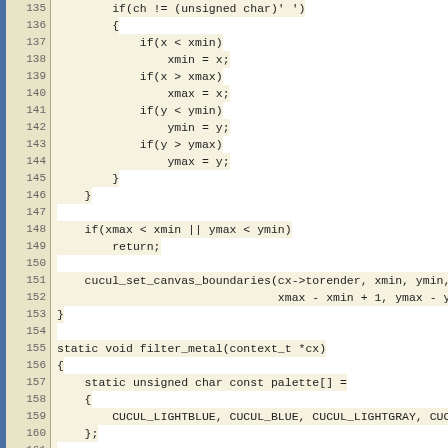Source code listing, lines 135-167
135: if(ch != (unsigned char)' ')
136: {
137: if(x < xmin)
138: xmin = x;
139: if(x > xmax)
140: xmax = x;
141: if(y < ymin)
142: ymin = y;
143: if(y > ymax)
144: ymax = y;
145: }
146: }
147: 
148: if(xmax < xmin || ymax < ymin)
149: return;
150: 
151: cucul_set_canvas_boundaries(cx->torender, xmin, ymin,
152: xmax - xmin + 1, ymax - y
153: }
154: 
155: static void filter_metal(context_t *cx)
156: {
157: static unsigned char const palette[] =
158: {
159: CUCUL_LIGHTBLUE, CUCUL_BLUE, CUCUL_LIGHTGRAY, CUC
160: };
161: 
162: unsigned int x, y, w, h;
163: 
164: w = cucul_get_canvas_width(cx->torender);
165: h = cucul_get_canvas_height(cx->torender);
166: 
167: for(y = 0; y < h; y++)